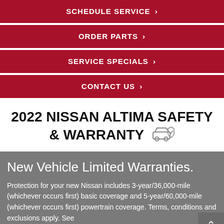SCHEDULE SERVICE >
ORDER PARTS >
SERVICE SPECIALS >
CONTACT US >
2022 NISSAN ALTIMA SAFETY & WARRANTY
New Vehicle Limited Warranties.
Protection for your new Nissan includes 3-year/36,000-mile (whichever occurs first) basic coverage and 5-year/60,000-mile (whichever occurs first) powertrain coverage. Terms, conditions and exclusions apply. See Warranty Information Booklet for complete details.